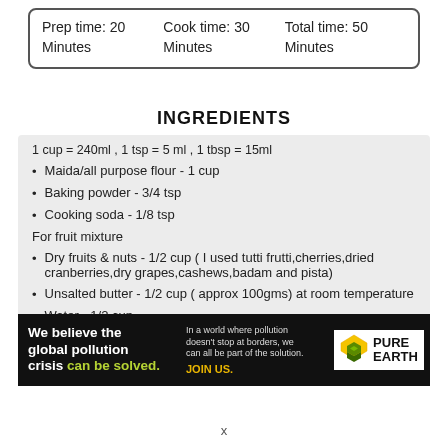| Prep time: 20 Minutes | Cook time: 30 Minutes | Total time: 50 Minutes |
INGREDIENTS
1 cup = 240ml , 1 tsp = 5 ml , 1 tbsp = 15ml
Maida/all purpose flour - 1 cup
Baking powder - 3/4 tsp
Cooking soda - 1/8 tsp
For fruit mixture
Dry fruits & nuts - 1/2 cup ( I used tutti frutti,cherries,dried cranberries,dry grapes,cashews,badam and pista)
Unsalted butter - 1/2 cup ( approx 100gms) at room temperature
Water - 1/2 cup
[Figure (infographic): Pure Earth advertisement banner: 'We believe the global pollution crisis can be solved.' with JOIN US call to action and Pure Earth logo.]
x